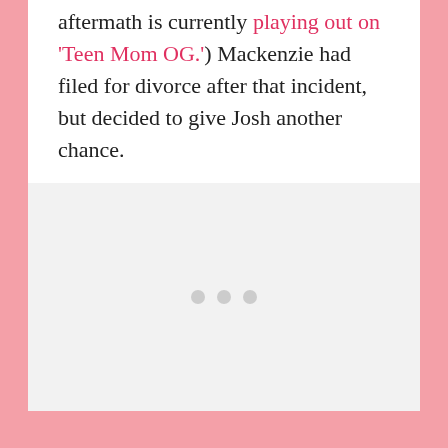aftermath is currently playing out on 'Teen Mom OG.') Mackenzie had filed for divorce after that incident, but decided to give Josh another chance.
[Figure (other): A light gray placeholder image box with three small gray dots centered near the middle-lower area, indicating a loading or empty image state.]